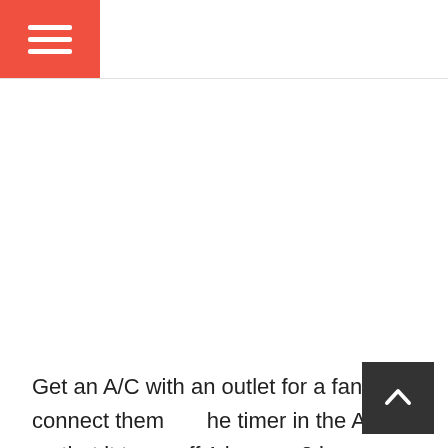Get an A/C with an outlet for a fan, connect them the timer in the A/C so that it turns off 1 hour or 2 be ou wake up, by which time the fan automatically turns on.